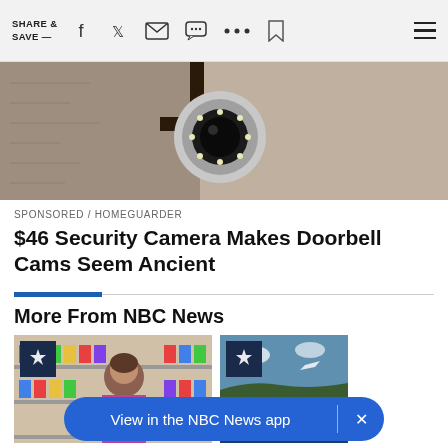SHARE & SAVE —
[Figure (photo): Security camera mounted on a wall bracket, close-up shot showing lens with LED lights ring, against textured stone/concrete wall background]
SPONSORED / HOMEGUARDER
$46 Security Camera Makes Doorbell Cams Seem Ancient
More From NBC News
[Figure (photo): NBC News article thumbnail showing a woman in a grocery store aisle with colorful product shelves]
[Figure (photo): NBC News article thumbnail showing aerial view of coastline]
View in the NBC News app